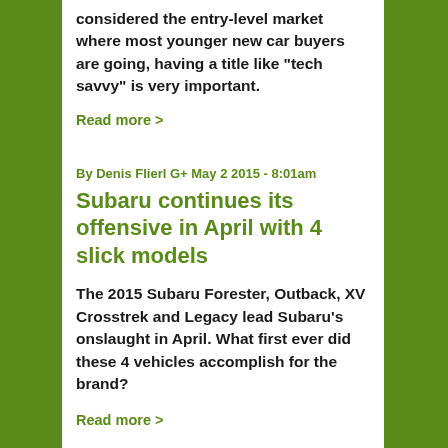considered the entry-level market where most younger new car buyers are going, having a title like "tech savvy" is very important.
Read more >
By Denis Flierl G+ May 2 2015 - 8:01am
Subaru continues its offensive in April with 4 slick models
The 2015 Subaru Forester, Outback, XV Crosstrek and Legacy lead Subaru's onslaught in April. What first ever did these 4 vehicles accomplish for the brand?
Read more >